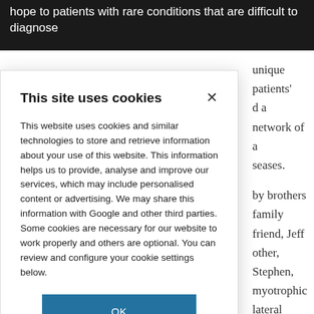hope to patients with rare conditions that are difficult to diagnose
unique patients' d a network of a seases.

by brothers family friend, Jeff other, Stephen, myotrophic lateral ld up an online ss symptoms and Today, more than ers. 'We have ed, ranging from d Parkinson's
This site uses cookies
This website uses cookies and similar technologies to store and retrieve information about your use of this website. This information helps us to provide, analyse and improve our services, which may include personalised content or advertising. We may share this information with Google and other third parties. Some cookies are necessary for our website to work properly and others are optional. You can review and configure your cookie settings below.
OK
COOKIE SETTINGS